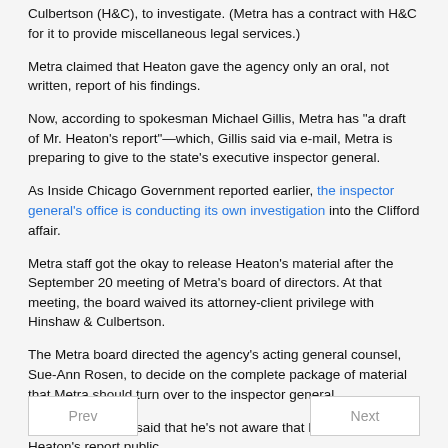Culbertson (H&C), to investigate. (Metra has a contract with H&C for it to provide miscellaneous legal services.)
Metra claimed that Heaton gave the agency only an oral, not written, report of his findings.
Now, according to spokesman Michael Gillis, Metra has "a draft of Mr. Heaton's report"—which, Gillis said via e-mail, Metra is preparing to give to the state's executive inspector general.
As Inside Chicago Government reported earlier, the inspector general's office is conducting its own investigation into the Clifford affair.
Metra staff got the okay to release Heaton's material after the September 20 meeting of Metra's board of directors. At that meeting, the board waived its attorney-client privilege with Hinshaw & Culbertson.
The Metra board directed the agency's acting general counsel, Sue-Ann Rosen, to decide on the complete package of material that Metra should turn over to the inspector general.
Spokesman Gillis said that he's not aware that Metra will make Heaton's report public.
🏷 CTA and Metra
Prev | Next